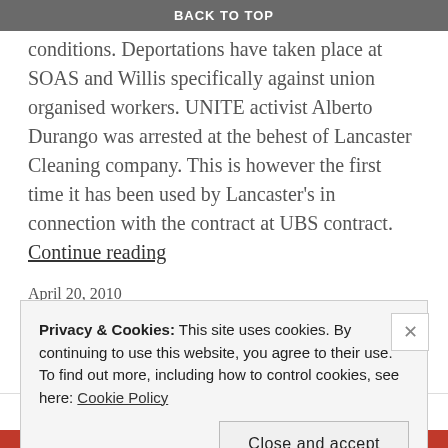BACK TO TOP
conditions. Deportations have taken place at SOAS and Willis specifically against union organised workers. UNITE activist Alberto Durango was arrested at the behest of Lancaster Cleaning company. This is however the first time it has been used by Lancaster's in connection with the contract at UBS contract. Continue reading
April 20, 2010
immigration, lancaster, racism, the commune, UBS, UK borders agency, unite
2 Comments
STRIKES, UNITE
Privacy & Cookies: This site uses cookies. By continuing to use this website, you agree to their use.
To find out more, including how to control cookies, see here: Cookie Policy
Close and accept